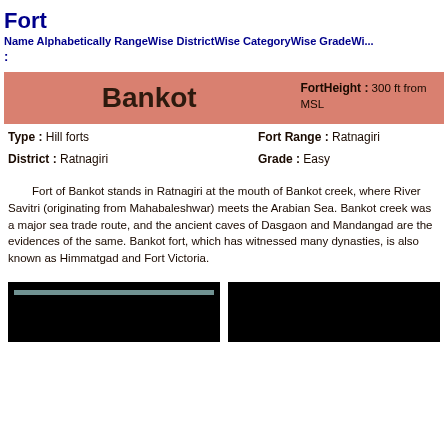Fort
Name Alphabetically RangeWise DistrictWise CategoryWise GradeWise :
| Fort Name | FortHeight |
| --- | --- |
| Bankot | FortHeight : 300 ft from MSL |
Type : Hill forts
Fort Range : Ratnagiri
District : Ratnagiri
Grade : Easy
Fort of Bankot stands in Ratnagiri at the mouth of Bankot creek, where River Savitri (originating from Mahabaleshwar) meets the Arabian Sea. Bankot creek was a major sea trade route, and the ancient caves of Dasgaon and Mandangad are the evidences of the same. Bankot fort, which has witnessed many dynasties, is also known as Himmatgad and Fort Victoria.
[Figure (photo): Two dark/black photo thumbnails of Bankot fort]